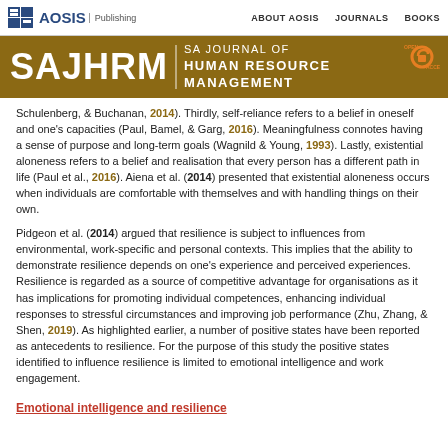AOSIS Publishing | ABOUT AOSIS | JOURNALS | BOOKS
[Figure (logo): SAJHRM - SA Journal of Human Resource Management banner with AOSIS Publishing logo and Open Access badge]
Schulenberg, & Buchanan, 2014). Thirdly, self-reliance refers to a belief in oneself and one's capacities (Paul, Bamel, & Garg, 2016). Meaningfulness connotes having a sense of purpose and long-term goals (Wagnild & Young, 1993). Lastly, existential aloneness refers to a belief and realisation that every person has a different path in life (Paul et al., 2016). Aiena et al. (2014) presented that existential aloneness occurs when individuals are comfortable with themselves and with handling things on their own.
Pidgeon et al. (2014) argued that resilience is subject to influences from environmental, work-specific and personal contexts. This implies that the ability to demonstrate resilience depends on one's experience and perceived experiences. Resilience is regarded as a source of competitive advantage for organisations as it has implications for promoting individual competences, enhancing individual responses to stressful circumstances and improving job performance (Zhu, Zhang, & Shen, 2019). As highlighted earlier, a number of positive states have been reported as antecedents to resilience. For the purpose of this study the positive states identified to influence resilience is limited to emotional intelligence and work engagement.
Emotional intelligence and resilience